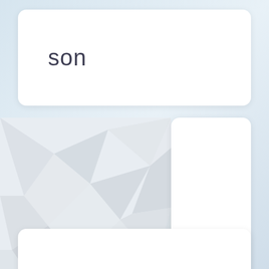son
[Figure (illustration): Geometric low-poly abstract background pattern in light grey tones]
fawn
[Figure (illustration): Geometric low-poly abstract background pattern in light grey tones at bottom, with purple circular FAB button with upward chevron arrow]